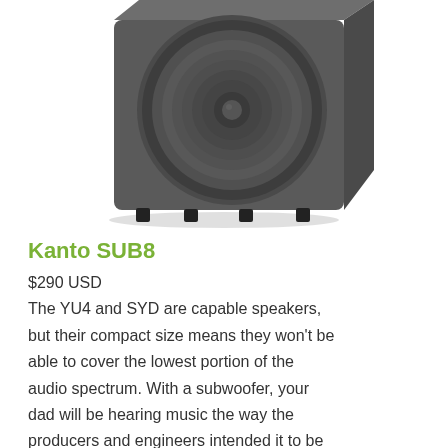[Figure (photo): Photo of a dark gray Kanto SUB8 subwoofer speaker, a square boxy unit with a large circular speaker cone on the front face, sitting on four small rubber feet. The unit is photographed from a slight angle showing the top and front.]
Kanto SUB8
$290 USD
The YU4 and SYD are capable speakers, but their compact size means they won't be able to cover the lowest portion of the audio spectrum. With a subwoofer, your dad will be hearing music the way the producers and engineers intended it to be